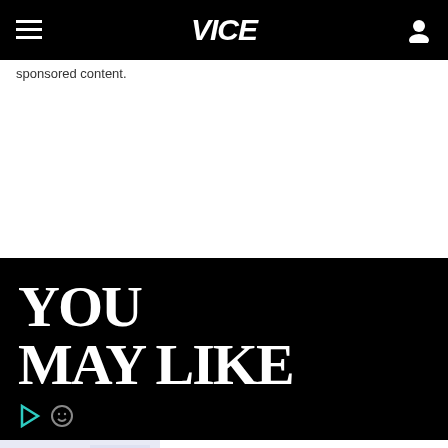VICE
sponsored content.
YOU MAY LIKE
[Figure (screenshot): Handwritten notes on paper, partially visible]
Intesa Sanpaolo, Italy's largest bank, half-year record,